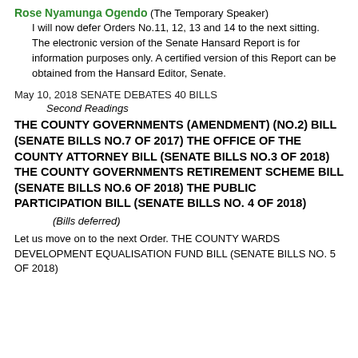Rose Nyamunga Ogendo (The Temporary Speaker)
I will now defer Orders No.11, 12, 13 and 14 to the next sitting. The electronic version of the Senate Hansard Report is for information purposes only. A certified version of this Report can be obtained from the Hansard Editor, Senate.
May 10, 2018 SENATE DEBATES 40 BILLS
Second Readings
THE COUNTY GOVERNMENTS (AMENDMENT) (NO.2) BILL (SENATE BILLS NO.7 OF 2017) THE OFFICE OF THE COUNTY ATTORNEY BILL (SENATE BILLS NO.3 OF 2018) THE COUNTY GOVERNMENTS RETIREMENT SCHEME BILL (SENATE BILLS NO.6 OF 2018) THE PUBLIC PARTICIPATION BILL (SENATE BILLS NO. 4 OF 2018)
(Bills deferred)
Let us move on to the next Order. THE COUNTY WARDS DEVELOPMENT EQUALISATION FUND BILL (SENATE BILLS NO. 5 OF 2018)